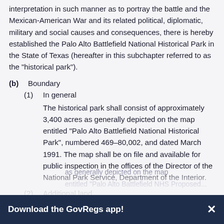interpretation in such manner as to portray the battle and the Mexican-American War and its related political, diplomatic, military and social causes and consequences, there is hereby established the Palo Alto Battlefield National Historical Park in the State of Texas (hereafter in this subchapter referred to as the "historical park").
(b) Boundary
(1) In general
The historical park shall consist of approximately 3,400 acres as generally depicted on the map entitled "Palo Alto Battlefield National Historical Park", numbered 469–80,002, and dated March 1991. The map shall be on file and available for public inspection in the offices of the Director of the National Park Service, Department of the Interior.
(2) Additional land
(A) In general
In addition to the land described in paragraph (1), the historical park shall consist of approximately 34 [acres as generally depicted on the map entitled "Palo Alto Battlefield NHS Proposed...]